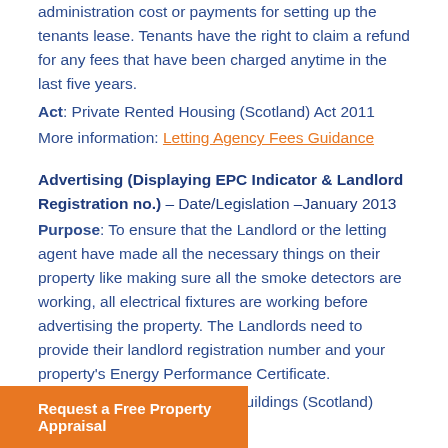administration cost or payments for setting up the tenants lease. Tenants have the right to claim a refund for any fees that have been charged anytime in the last five years.
Act: Private Rented Housing (Scotland) Act 2011
More information: Letting Agency Fees Guidance
Advertising (Displaying EPC Indicator & Landlord Registration no.) – Date/Legislation –January 2013
Purpose: To ensure that the Landlord or the letting agent have made all the necessary things on their property like making sure all the smoke detectors are working, all electrical fixtures are working before advertising the property. The Landlords need to provide their landlord registration number and your property's Energy Performance Certificate.
Act: Energy Performance of Buildings (Scotland)
Request a Free Property Appraisal